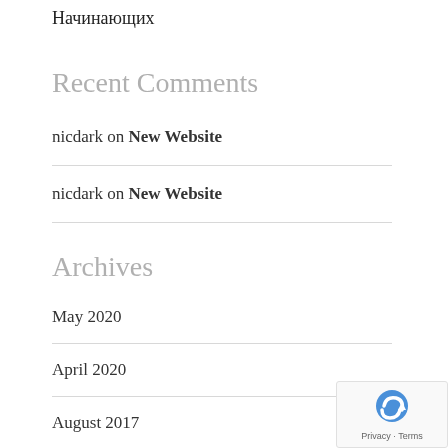Начинающих
Recent Comments
nicdark on New Website
nicdark on New Website
Archives
May 2020
April 2020
August 2017
July 2017